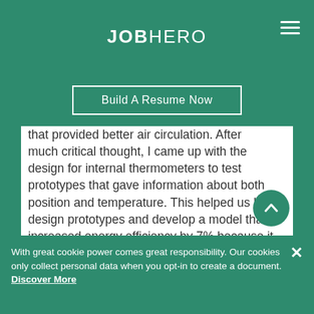JOBHERO
Build A Resume Now
that provided better air circulation. After much critical thought, I came up with the design for internal thermometers to test prototypes that gave information about both position and temperature. This helped us better design prototypes and develop a model that increased energy efficiency by 7% because it needed less heat when better airflow was achieved.”
With great cookie power comes great responsibility. Our cookies only collect personal data when you opt-in to create a document. Discover More